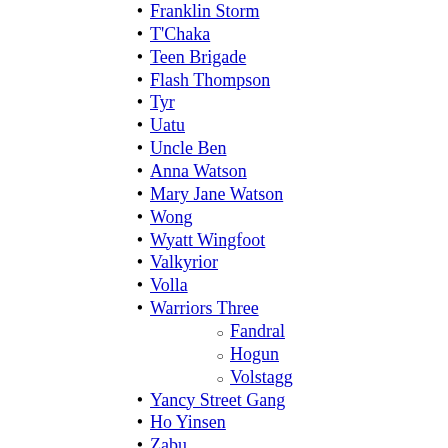Franklin Storm
T'Chaka
Teen Brigade
Flash Thompson
Tyr
Uatu
Uncle Ben
Anna Watson
Mary Jane Watson
Wong
Wyatt Wingfoot
Valkyrior
Volla
Warriors Three
Fandral
Hogun
Volstagg
Yancy Street Gang
Ho Yinsen
Zabu
Zeus
Asgardians
Kree
Giants